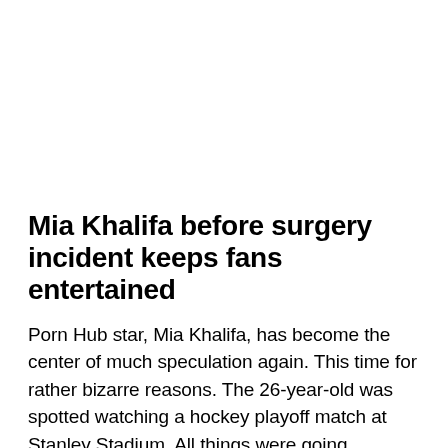Mia Khalifa before surgery incident keeps fans entertained
Porn Hub star, Mia Khalifa, has become the center of much speculation again. This time for rather bizarre reasons. The 26-year-old was spotted watching a hockey playoff match at Stanley Stadium. All things were going smoothly until a fast-paced hockey puck slammed into her chest.